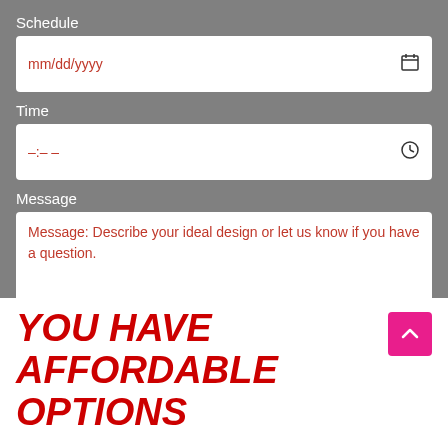Schedule
mm/dd/yyyy
Time
–:– –
Message
Message: Describe your ideal design or let us know if you have a question.
SEND YOUR MESSAGE
YOU HAVE AFFORDABLE OPTIONS